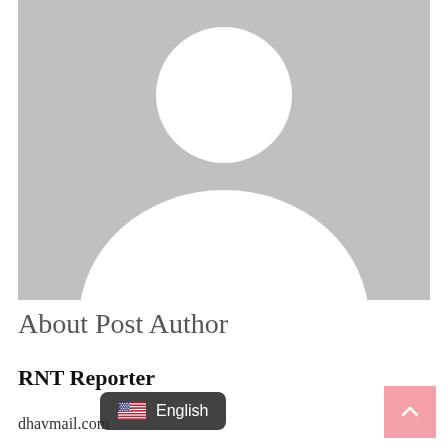[Figure (illustration): Generic grey placeholder avatar silhouette showing a person outline (head circle and body/shoulders shape) on a grey background]
About Post Author
RNT Reporter
dhav...mail.com
[Figure (other): Language selector overlay tooltip showing a US flag emoji and the text 'English' on a dark semi-transparent background]
[Figure (other): Pink 'back to top' button with an upward chevron arrow in the bottom right corner]